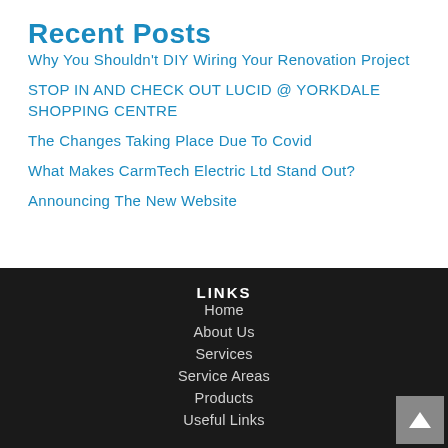Recent Posts
Why You Shouldn't DIY Wiring Your Renovation Project
STOP IN AND CHECK OUT LUCID @ YORKDALE SHOPPING CENTRE
The Changes Taking Place Due To Covid
What Makes CarmTech Electric Ltd Stand Out?
Announcing The New Website
LINKS
Home
About Us
Services
Service Areas
Products
Useful Links